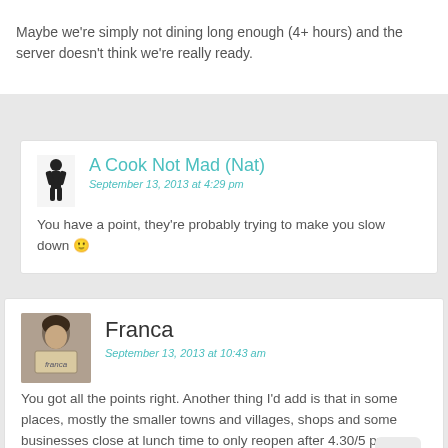Maybe we're simply not dining long enough (4+ hours) and the server doesn't think we're really ready.
A Cook Not Mad (Nat)
September 13, 2013 at 4:29 pm
You have a point, they're probably trying to make you slow down 🙂
Franca
September 13, 2013 at 10:43 am
You got all the points right. Another thing I'd add is that in some places, mostly the smaller towns and villages, shops and some businesses close at lunch time to only reopen after 4.30/5 pm.

Great tips! 🙂